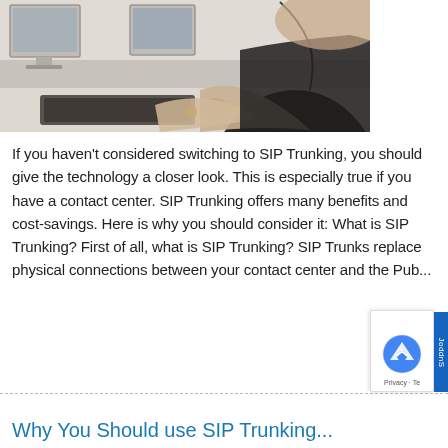[Figure (photo): Woman working at a computer in what appears to be a contact center or office environment, typing on a keyboard with monitors visible in the background]
If you haven't considered switching to SIP Trunking, you should give the technology a closer look. This is especially true if you have a contact center. SIP Trunking offers many benefits and cost-savings. Here is why you should consider it: What is SIP Trunking? First of all, what is SIP Trunking? SIP Trunks replace physical connections between your contact center and the Pub...
Why You Should use SIP Trunking...